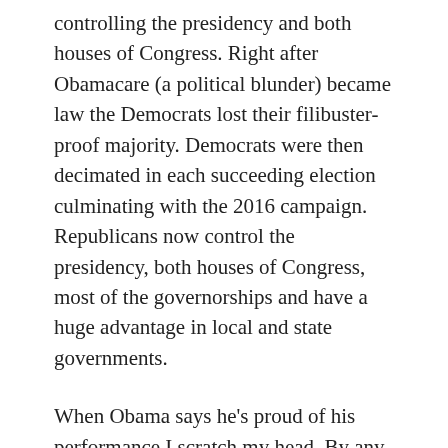controlling the presidency and both houses of Congress. Right after Obamacare (a political blunder) became law the Democrats lost their filibuster-proof majority. Democrats were then decimated in each succeeding election culminating with the 2016 campaign. Republicans now control the presidency, both houses of Congress, most of the governorships and have a huge advantage in local and state governments.
When Obama says he's proud of his performance I scratch my head. By any measure he has done little to make America a better place.
People who disagree with the aforementioned perspective will cite Obama's current approval rating. I hasten to remind everyone that he was in the low 40s a short time ago, and his higher ratings have more to do